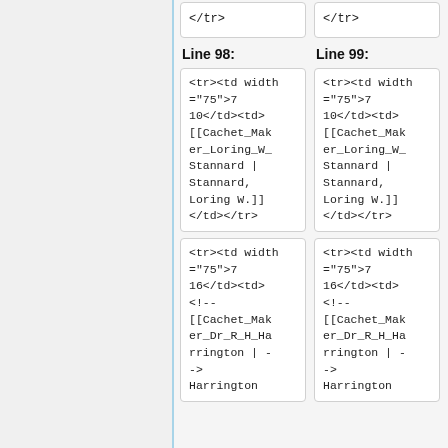</tr>
</tr>
Line 98:
Line 99:
<tr><td width="75">710</td><td>[[Cachet_Maker_Loring_W_Stannard | Stannard, Loring W.]]</td></tr>
<tr><td width="75">710</td><td>[[Cachet_Maker_Loring_W_Stannard | Stannard, Loring W.]]</td></tr>
<tr><td width="75">716</td><td><!-- [[Cachet_Maker_Dr_R_H_Harrington | ->Harrington
<tr><td width="75">716</td><td><!-- [[Cachet_Maker_Dr_R_H_Harrington | ->Harrington